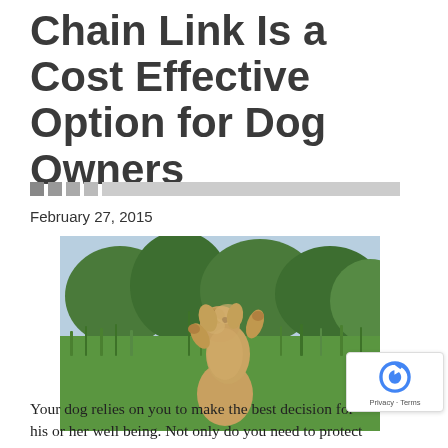Chain Link Is a Cost Effective Option for Dog Owners
February 27, 2015
[Figure (photo): A fluffy golden/tan dog standing on hind legs in a grassy field with trees in the background, appearing to be reaching upward.]
Your dog relies on you to make the best decision for his or her well being. Not only do you need to protect